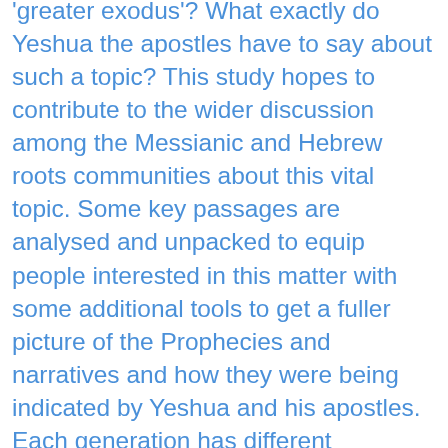'greater exodus'? What exactly do Yeshua the apostles have to say about such a topic? This study hopes to contribute to the wider discussion among the Messianic and Hebrew roots communities about this vital topic. Some key passages are analysed and unpacked to equip people interested in this matter with some additional tools to get a fuller picture of the Prophecies and narratives and how they were being indicated by Yeshua and his apostles. Each generation has different questions, and as our knowledge grows of how to understand Yeshua in the context of the Tanach, the benefit of having greater clarity about this central issue will bring us into a greater understanding of the Torah and its interpretation, and a better knowledge of how Yeshua and his apostles handled the Torah.
Have you ever heard about the “greater exodus”?